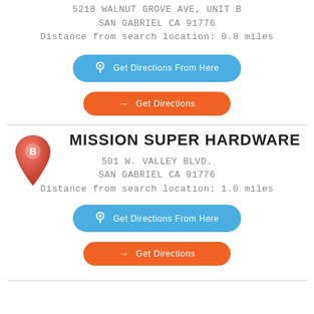5218 WALNUT GROVE AVE, UNIT B
SAN GABRIEL CA 91776
Distance from search location: 0.8 miles
[Figure (infographic): Blue rounded button with location pin icon and text 'Get Directions From Here']
[Figure (infographic): Orange rounded button with arrow icon and text 'Get Directions']
MISSION SUPER HARDWARE
501 W. VALLEY BLVD.
SAN GABRIEL CA 91776
Distance from search location: 1.0 miles
[Figure (infographic): Blue rounded button with location pin icon and text 'Get Directions From Here']
[Figure (infographic): Orange rounded button with arrow icon and text 'Get Directions']